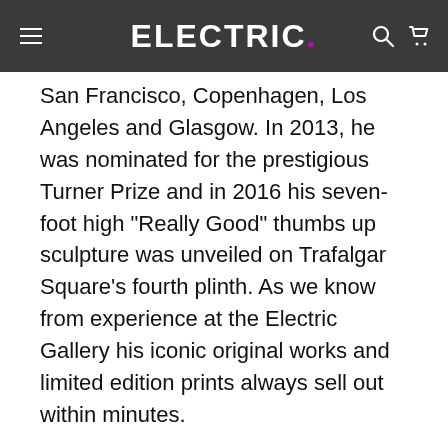ELECTRIC.
San Francisco, Copenhagen, Los Angeles and Glasgow. In 2013, he was nominated for the prestigious Turner Prize and in 2016 his seven-foot high "Really Good" thumbs up sculpture was unveiled on Trafalgar Square's fourth plinth. As we know from experience at the Electric Gallery his iconic original works and limited edition prints always sell out within minutes.
David's latest venture is creating cards, mugs,